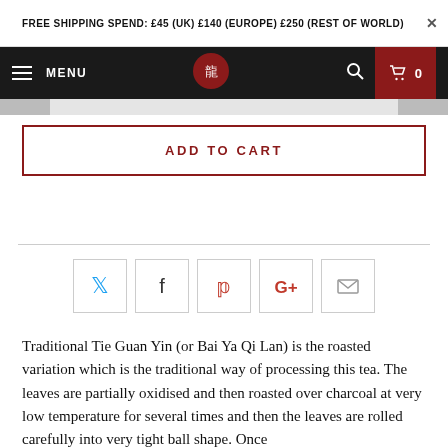FREE SHIPPING SPEND: £45 (UK) £140 (EUROPE) £250 (REST OF WORLD)
MENU | [logo] | [search] | cart 0
ADD TO CART
[Figure (infographic): Social sharing icons row: Twitter (blue), Facebook (dark), Pinterest (red), Google+ (red), Email (grey)]
Traditional Tie Guan Yin (or Bai Ya Qi Lan) is the roasted variation which is the traditional way of processing this tea. The leaves are partially oxidised and then roasted over charcoal at very low temperature for several times and then the leaves are rolled carefully into very tight ball shape. Once